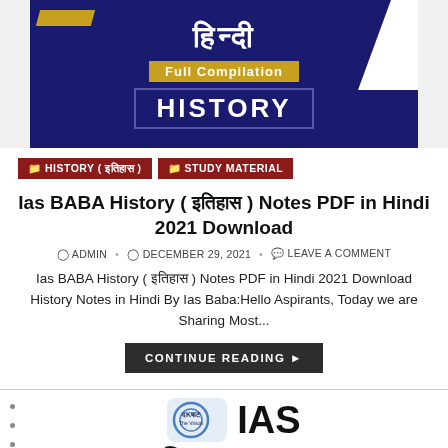[Figure (illustration): Hindi History Full Compilation banner with dark navy background, Hindi text हिन्दी, yellow Full Compilation label, and HISTORY text in white bold letters]
HISTORY ( इतिहास )
STUDY MATERIAL
Ias BABA History ( इतिहास ) Notes PDF in Hindi 2021 Download
ADMIN  •  DECEMBER 29, 2021  •  LEAVE A COMMENT
Ias BABA History ( इतिहास ) Notes PDF in Hindi 2021 Download History Notes in Hindi By Ias Baba:Hello Aspirants, Today we are Sharing Most...
CONTINUE READING ▸
[Figure (logo): Drishti IAS logo with circular emblem and IAS text, followed by large Hindi text आधुनिक भारत का]